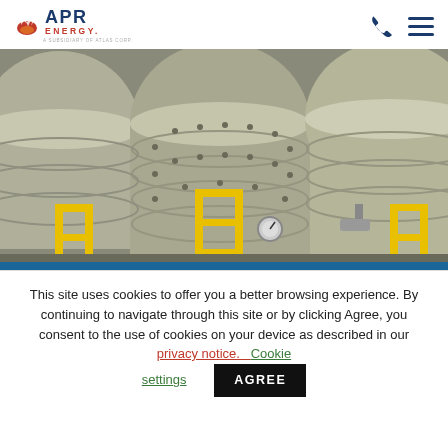APR ENERGY. A SUBSIDIARY OF ATLAS CORP.
[Figure (photo): Industrial power generation equipment — large cylindrical turbine/generator units with ribbed surfaces and yellow safety railings in an industrial facility.]
This site uses cookies to offer you a better browsing experience. By continuing to navigate through this site or by clicking Agree, you consent to the use of cookies on your device as described in our privacy notice. Cookie settings AGREE